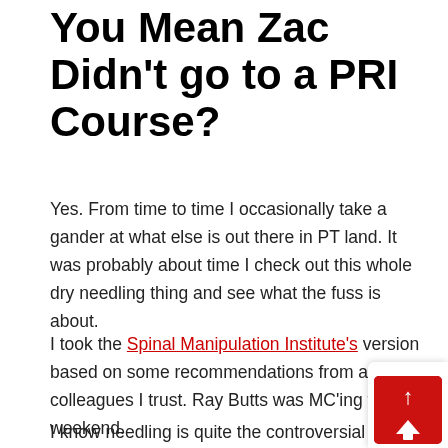You Mean Zac Didn't go to a PRI Course?
Yes. From time to time I occasionally take a gander at what else is out there in PT land. It was probably about time I check out this whole dry needling thing and see what the fuss is about.
I took the Spinal Manipulation Institute's version based on some recommendations from a few colleagues I trust. Ray Butts was MC'ing for the weekend.
I know needling is quite the controversial topic, was amazed at the sheer quantity of evidence